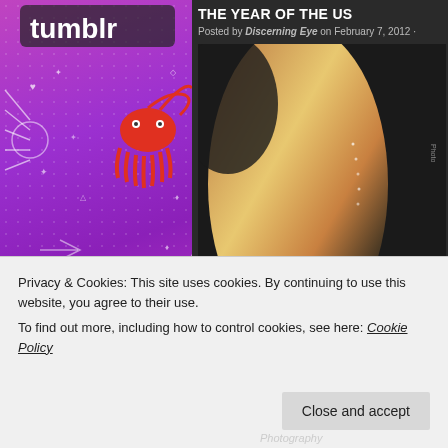[Figure (illustration): Tumblr advertisement with purple/pink gradient background featuring white text 'tumblr' and colorful cartoon doodle stickers including an octopus, sailboat, skull, flowers, fire creatures, and other whimsical illustrations. 'REPORT THIS AD' text at bottom right.]
THE YEAR OF THE US
Posted by Discerning Eye on February 7, 2012 ·
[Figure (photo): Close-up photograph of a human torso/back in warm golden/amber tones against dark background, with a studded band visible at the bottom. Vertical text 'Photo' visible on right edge.]
This project, I am finding, is turning out to be m
Privacy & Cookies: This site uses cookies. By continuing to use this website, you agree to their use.
To find out more, including how to control cookies, see here: Cookie Policy
Photography